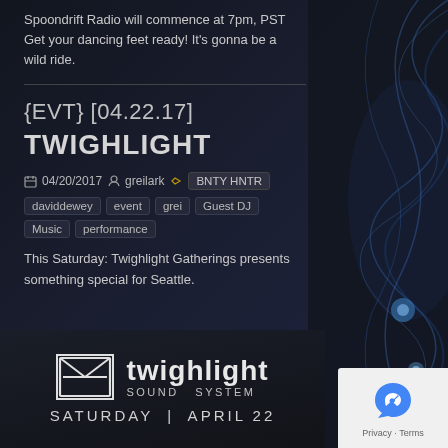Spoondrift Radio will commence at 7pm, PST Get your dancing feet ready! It's gonna be a wild ride.
{EVT} [04.22.17] TWIGHLIGHT
04/20/2017   greilark   BNTY HNTR
daviddewey event grei Guest DJ Music performance
This Saturday: Twighlight Gatherings presents something special for Seattle.
[Figure (logo): Twighlight sound system logo with envelope icon, text 'twighlight sound system' and 'SATURDAY | APRIL 22']